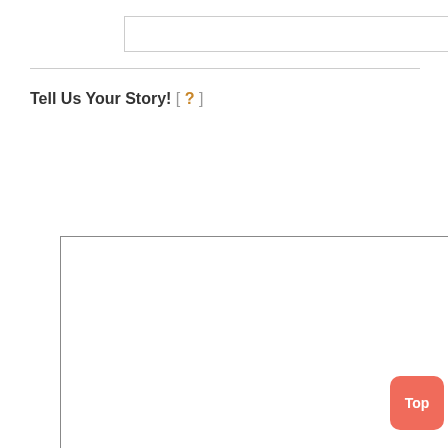[Figure (screenshot): An empty rectangular input/text field (form input box) near the top of the page]
Tell Us Your Story! [ ? ]
[Figure (screenshot): A large empty textarea form field for user text input]
Top